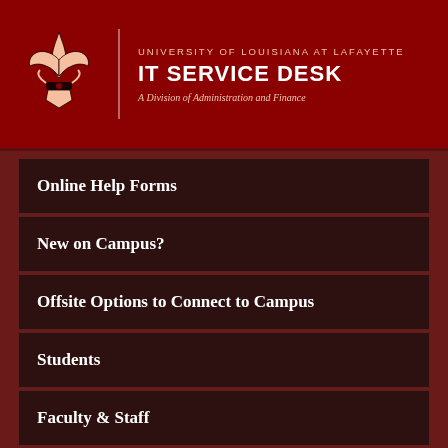UNIVERSITY OF LOUISIANA AT LAFAYETTE IT SERVICE DESK A Division of Administration and Finance
Online Help Forms
New on Campus?
Offsite Options to Connect to Campus
Students
Faculty & Staff
Banner Information Central
Knowledgebase